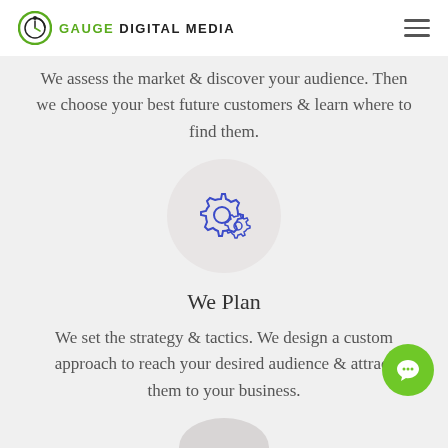GAUGE DIGITAL MEDIA
We assess the market & discover your audience. Then we choose your best future customers & learn where to find them.
[Figure (illustration): Gears icon in a light gray circle representing planning/strategy]
We Plan
We set the strategy & tactics. We design a custom approach to reach your desired audience & attract them to your business.